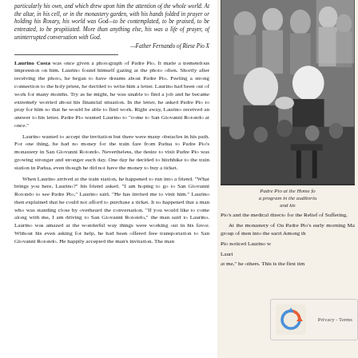particularly his own, and which drew upon him the attention of the whole world. At the altar, in his cell, or in the monastery garden, with his hands folded in prayer or holding his Rosary, his world was God—to be contemplated, to be praised, to be entreated, to be propitiated. More than anything else, his was a life of prayer, of uninterrupted conversation with God.
—Father Fernando of Riese Pio X
[Figure (photo): Black and white photograph of Padre Pio at the Home for Relief of Suffering, showing a group of people in an auditorium setting]
Padre Pio at the Home for a program in the auditoriu and kis
Laurino Costa was once given a photograph of Padre Pio. It made a tremendous impression on him. Laurino found himself gazing at the photo often. Shortly after receiving the photo, he began to have dreams about Padre Pio. Feeling a strong connection to the holy priest, he decided to write him a letter. Laurino had been out of work for many months. Try as he might, he was unable to find a job and he became extremely worried about his financial situation. In the letter, he asked Padre Pio to pray for him so that he would be able to find work. Right away, Laurino received an answer to his letter. Padre Pio wanted Laurino to "come to San Giovanni Rotondo at once."
Laurino wanted to accept the invitation but there were many obstacles in his path. For one thing, he had no money for the train fare from Padua to Padre Pio's monastery in San Giovanni Rotondo. Nevertheless, the desire to visit Padre Pio was growing stronger and stronger each day. One day he decided to hitchhike to the train station in Padua, even though he did not have the money to buy a ticket.
When Laurino arrived at the train station, he happened to run into a friend. "What brings you here, Laurino?" his friend asked. "I am hoping to go to San Giovanni Rotondo to see Padre Pio," Laurino said. "He has invited me to visit him." Laurino then explained that he could not afford to purchase a ticket. It so happened that a man who was standing close by overheard the conversation. "If you would like to come along with me, I am driving to San Giovanni Rotondo," the man said to Laurino. Laurino was amazed at the wonderful way things were working out in his favor. Without his even asking for help, he had been offered free transportation to San Giovanni Rotondo. He happily accepted the man's invitation. The man
Pio's and the medical director for the Relief of Suffering.
At the monastery of Our Padre Pio's early morning Ma group of men into the sacri Among the Pio noticed Laurino wi Lauri at me," he others. This is the first time